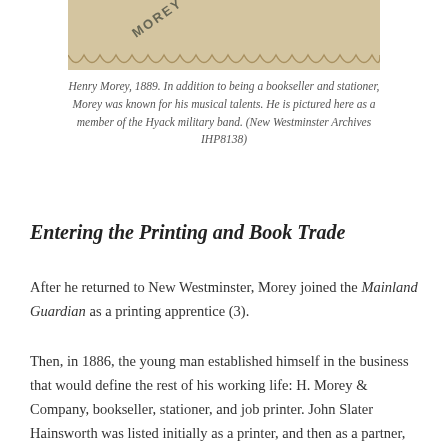[Figure (photo): Bottom portion of a sepia-toned photograph with scalloped/torn lower edge and the text 'MOREY' visible diagonally. The photograph appears to be mounted on a cream/tan card stock background.]
Henry Morey, 1889. In addition to being a bookseller and stationer, Morey was known for his musical talents. He is pictured here as a member of the Hyack military band. (New Westminster Archives IHP8138)
Entering the Printing and Book Trade
After he returned to New Westminster, Morey joined the Mainland Guardian as a printing apprentice (3).
Then, in 1886, the young man established himself in the business that would define the rest of his working life: H. Morey & Company, bookseller, stationer, and job printer. John Slater Hainsworth was listed initially as a printer, and then as a partner, in the enterprise (4).